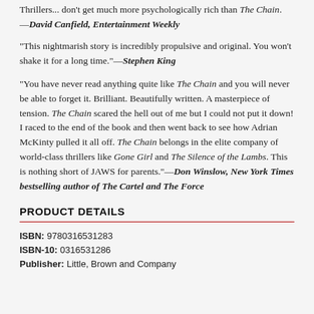Thrillers... don't get much more psychologically rich than The Chain. —David Canfield, Entertainment Weekly
"This nightmarish story is incredibly propulsive and original. You won't shake it for a long time."—Stephen King
"You have never read anything quite like The Chain and you will never be able to forget it. Brilliant. Beautifully written. A masterpiece of tension. The Chain scared the hell out of me but I could not put it down! I raced to the end of the book and then went back to see how Adrian McKinty pulled it all off. The Chain belongs in the elite company of world-class thrillers like Gone Girl and The Silence of the Lambs. This is nothing short of JAWS for parents."—Don Winslow, New York Times bestselling author of The Cartel and The Force
PRODUCT DETAILS
ISBN: 9780316531283
ISBN-10: 0316531286
Publisher: Little, Brown and Company